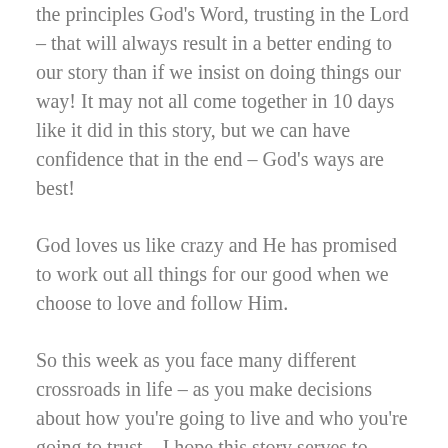the principles God's Word, trusting in the Lord – that will always result in a better ending to our story than if we insist on doing things our way! It may not all come together in 10 days like it did in this story, but we can have confidence that in the end – God's ways are best!
God loves us like crazy and He has promised to work out all things for our good when we choose to love and follow Him.
So this week as you face many different crossroads in life – as you make decisions about how you're going to live and who you're going to trust – I hope this story serves to remind you to trust in the Lord and to live for Him.
Maybe you have questions that you just don't have answers for – you're not sure which way to go or